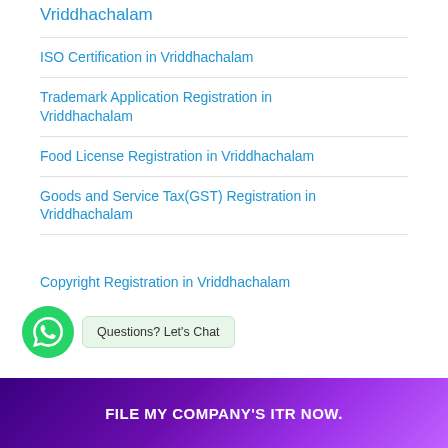Vriddhachalam
ISO Certification in Vriddhachalam
Trademark Application Registration in Vriddhachalam
Food License Registration in Vriddhachalam
Goods and Service Tax(GST) Registration in Vriddhachalam
Copyright Registration in Vriddhachalam
FILE MY COMPANY'S ITR NOW.